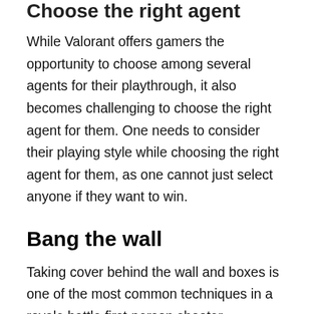Choose the right agent
While Valorant offers gamers the opportunity to choose among several agents for their playthrough, it also becomes challenging to choose the right agent for them. One needs to consider their playing style while choosing the right agent for them, as one cannot just select anyone if they want to win.
Bang the wall
Taking cover behind the wall and boxes is one of the most common techniques in a royale battle first-person shooter gameplay. An enemy player can just be hiding behind the wall waiting for you to drop your guard and take you out. But there is a